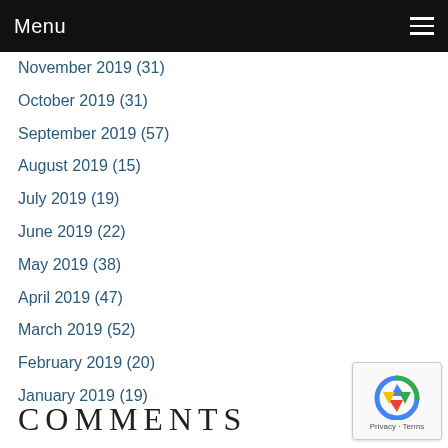Menu
November 2019 (31)
October 2019 (31)
September 2019 (57)
August 2019 (15)
July 2019 (19)
June 2019 (22)
May 2019 (38)
April 2019 (47)
March 2019 (52)
February 2019 (20)
January 2019 (19)
COMMENTS